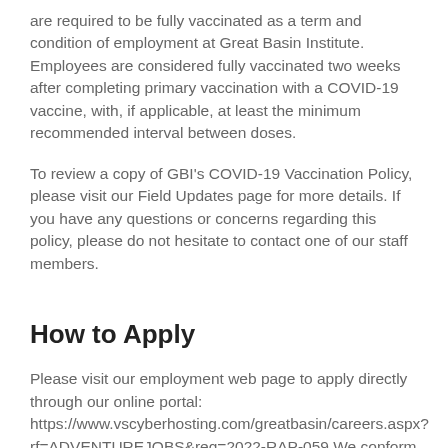are required to be fully vaccinated as a term and condition of employment at Great Basin Institute. Employees are considered fully vaccinated two weeks after completing primary vaccination with a COVID-19 vaccine, with, if applicable, at least the minimum recommended interval between doses.
To review a copy of GBI's COVID-19 Vaccination Policy, please visit our Field Updates page for more details. If you have any questions or concerns regarding this policy, please do not hesitate to contact one of our staff members.
How to Apply
Please visit our employment web page to apply directly through our online portal: https://www.vscyberhosting.com/greatbasin/careers.aspx?rf=ADVENTUREJOBS&req=2022-RAP-059 We conform to all the laws, statutes, and regulations concerning equal employment opportunities and affirmative action. We strongly encourage women, minorities, individuals with disabilities and veterans to apply to all of our job openings. We are an equal opportunity employer and all qualified applicants will receive